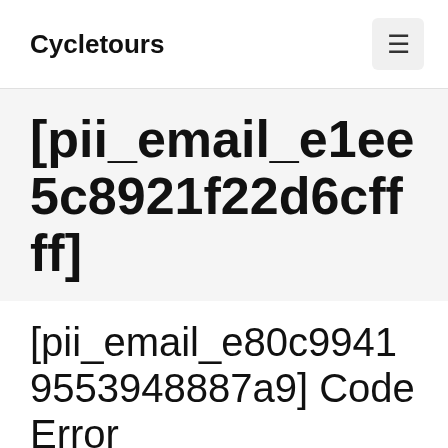Cycletours
[pii_email_e1ee5c8921f22d6cffff]
[pii_email_e80c99419553948887a9] Code Error